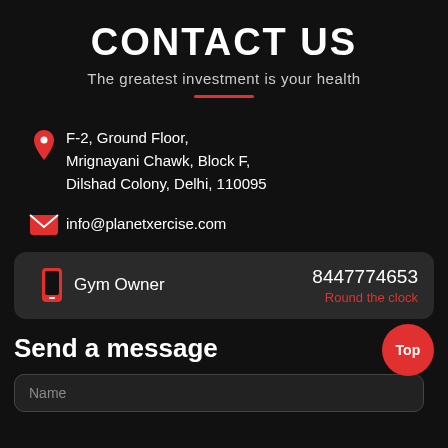CONTACT US
The greatest investment is your health
F-2, Ground Floor,
Mrignayani Chawk, Block F,
Dilshad Colony, Delhi, 110095
info@planetxercise.com
Gym Owner  8447774653  Round the clock
Send a message
Name